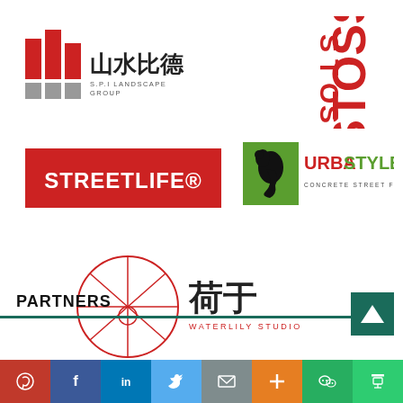[Figure (logo): SPI Landscape Group logo - red and grey bar chart icon with Chinese characters 山水比德 and text S.P.I LANDSCAPE GROUP]
[Figure (logo): STOSS logo in bold red vertical text]
[Figure (logo): STREETLIFE red rectangular logo with white text and registered trademark symbol]
[Figure (logo): URBASTYLE logo with green square containing black bird silhouette and text CONCRETE STREET FURNITURE]
[Figure (logo): Waterlily Studio logo with red circle grid design, Chinese characters 荷于 and WATERLILY STUDIO text]
PARTNERS
[Figure (other): Social media share bar with Pinterest, Facebook, LinkedIn, Twitter, Email, Plus, WeChat, Douban buttons]